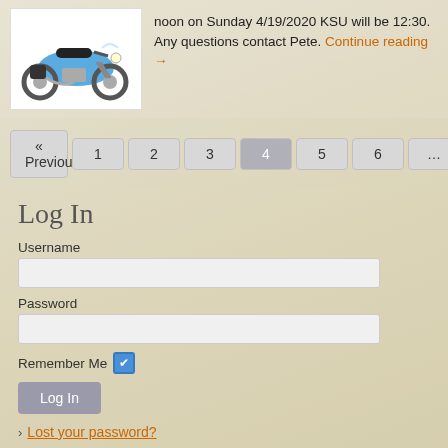[Figure (photo): Photograph of a blue and white Harley-Davidson Heritage Softail motorcycle on white background]
noon on Sunday 4/19/2020 KSU will be 12:30. Any questions contact Pete. Continue reading →
« Previous 1 2 3 4 5 6 … 16 Next »
Log In
Username
Password
Remember Me
Log In
> Lost your password?
Categories